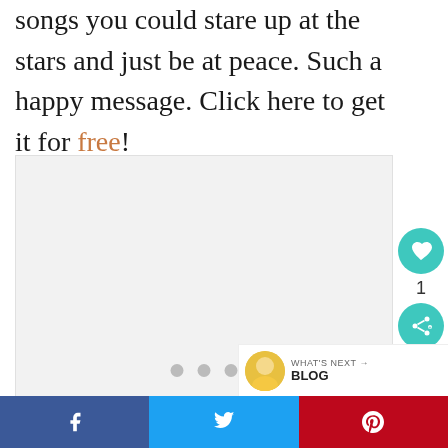songs you could stare up at the stars and just be at peace. Such a happy message. Click here to get it for free!
[Figure (other): Light gray placeholder image area with three dots at bottom indicating a slideshow or carousel]
[Figure (infographic): Social sharing sidebar with heart/like button showing count of 1, and a share button, both in teal/green color]
[Figure (infographic): What's Next blog promo bar with avatar photo and BLOG label and arrow]
[Figure (infographic): Bottom social sharing bar with Facebook (blue), Twitter (light blue), and Pinterest (red) buttons]